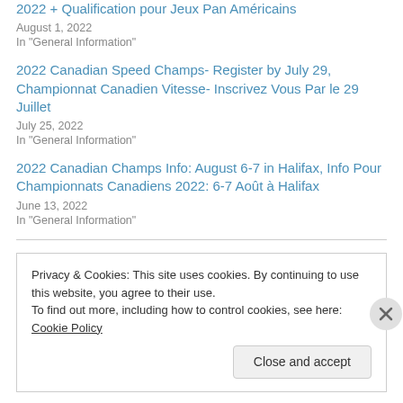2022 + Qualification pour Jeux Pan Américains
August 1, 2022
In "General Information"
2022 Canadian Speed Champs- Register by July 29, Championnat Canadien Vitesse- Inscrivez Vous Par le 29 Juillet
July 25, 2022
In "General Information"
2022 Canadian Champs Info: August 6-7 in Halifax, Info Pour Championnats Canadiens 2022: 6-7 Août à Halifax
June 13, 2022
In "General Information"
Privacy & Cookies: This site uses cookies. By continuing to use this website, you agree to their use.
To find out more, including how to control cookies, see here: Cookie Policy
Close and accept